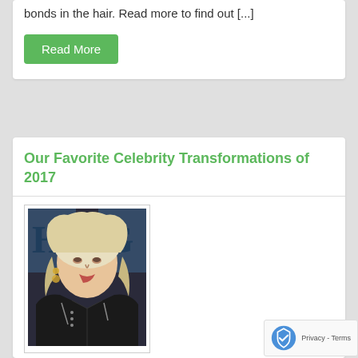bonds in the hair. Read more to find out [...]
Read More
Our Favorite Celebrity Transformations of 2017
[Figure (photo): Photo of a blonde woman wearing a black leather jacket, with wavy platinum blonde hair and dangling earrings]
Posted: Monday, December 4th, 2017
2017 has been quite the year for celebrity hair transformations. From platinum mermaid hair to making the big chop, celebrities are going big with the latest color trends. Take a look at our favorite celebrity hair transformations...